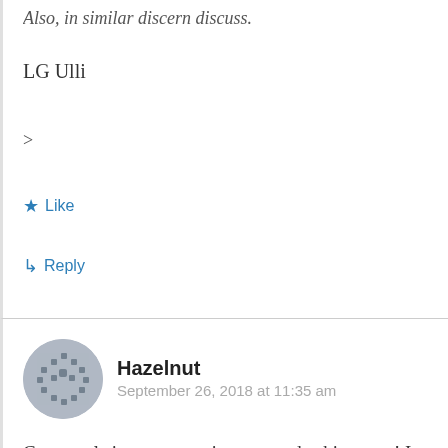LG Ulli
>
★ Like
↳ Reply
Hazelnut
September 26, 2018 at 11:35 am
Congratulstions on your journey and achievment! I am proud of you!
★ Like